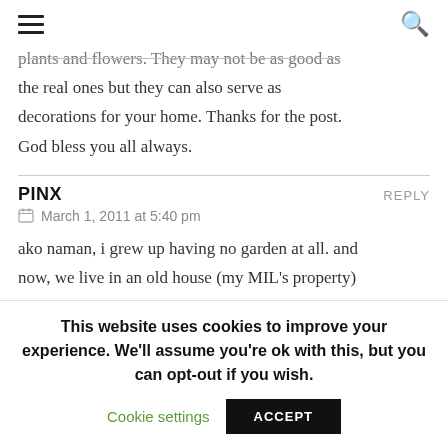≡   🔍
plants and flowers. They may not be as good as the real ones but they can also serve as decorations for your home. Thanks for the post. God bless you all always.
PINX   REPLY
March 1, 2011 at 5:40 pm
ako naman, i grew up having no garden at all. and now, we live in an old house (my MIL's property) it has a big lawn, a garden, a backyard, eh di
This website uses cookies to improve your experience. We'll assume you're ok with this, but you can opt-out if you wish.
Cookie settings   ACCEPT